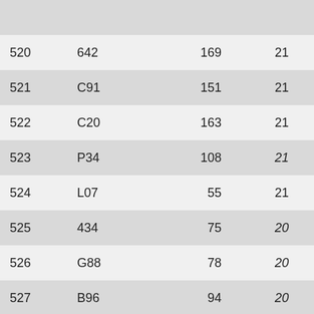| 520 | 642 | 169 | 21 | 8.05 |
| 521 | C91 | 151 | 21 | 7.19 |
| 522 | C20 | 163 | 21 | 7.76 |
| 523 | P34 | 108 | 21 | 5.14 |
| 524 | L07 | 55 | 21 | 2.62 |
| 525 | 434 | 75 | 20 | 3.75 |
| 526 | G88 | 78 | 20 | 3.90 |
| 527 | B96 | 94 | 20 | 4.70 |
| 528 | 017 | 42 | 20 | 2.10 |